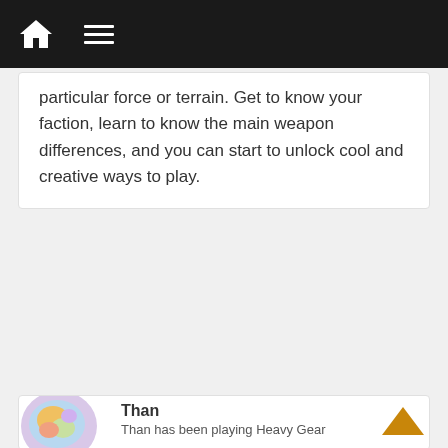Navigation bar with home icon and menu icon
particular force or terrain. Get to know your faction, learn to know the main weapon differences, and you can start to unlock cool and creative ways to play.
← The HoverCar that Could
Northern Forces: The United Mercantile Federation →
Than
Than has been playing Heavy Gear